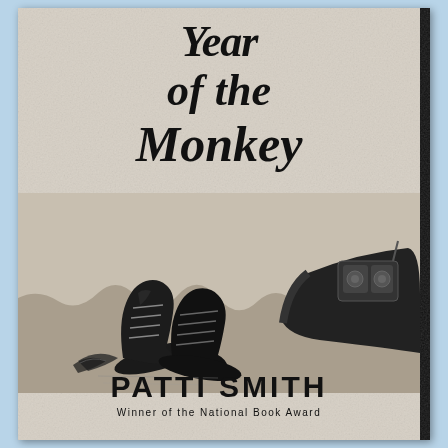Year of the Monkey
[Figure (photo): Black and white photograph of worn boots/shoes on the ground, with a bag or backpack visible on the right side. The image is split/torn in the middle.]
PATTI SMITH
Winner of the National Book Award